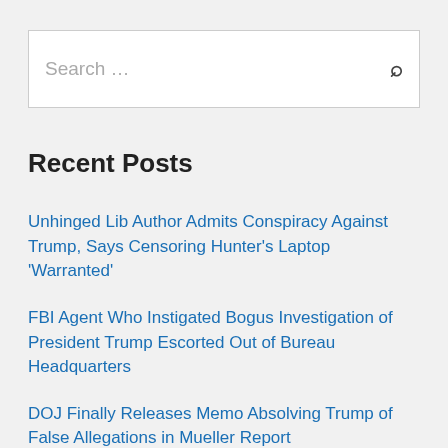Search …
Recent Posts
Unhinged Lib Author Admits Conspiracy Against Trump, Says Censoring Hunter's Laptop 'Warranted'
FBI Agent Who Instigated Bogus Investigation of President Trump Escorted Out of Bureau Headquarters
DOJ Finally Releases Memo Absolving Trump of False Allegations in Mueller Report
FBI Creates Guide on 'Militia Violent Extremists' Citing